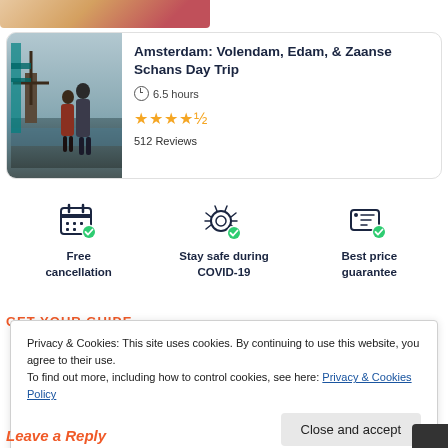[Figure (photo): Partial top strip of a travel photo]
Amsterdam: Volendam, Edam, & Zaanse Schans Day Trip
6.5 hours
[Figure (other): 4.5 star rating: 4 full stars and 1 half star in gold]
512 Reviews
[Figure (infographic): Three feature icons with text: Free cancellation, Stay safe during COVID-19, Best price guarantee]
GET YOUR GUIDE
Privacy & Cookies: This site uses cookies. By continuing to use this website, you agree to their use.
To find out more, including how to control cookies, see here: Privacy & Cookies Policy
Close and accept
Leave a Reply